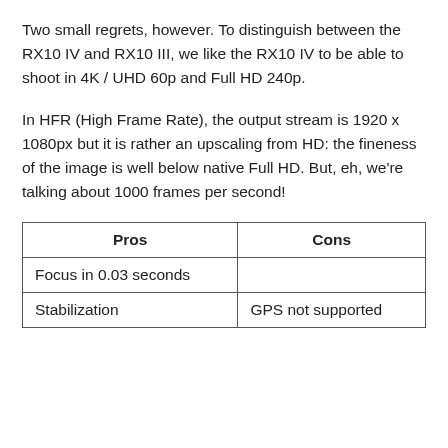Two small regrets, however. To distinguish between the RX10 IV and RX10 III, we like the RX10 IV to be able to shoot in 4K / UHD 60p and Full HD 240p.
In HFR (High Frame Rate), the output stream is 1920 x 1080px but it is rather an upscaling from HD: the fineness of the image is well below native Full HD. But, eh, we're talking about 1000 frames per second!
| Pros | Cons |
| --- | --- |
| Focus in 0.03 seconds |  |
| Stabilization | GPS not supported |